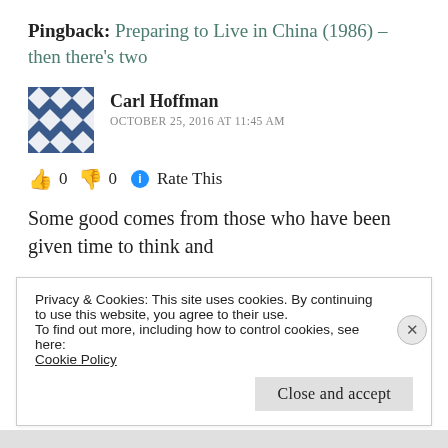Pingback: Preparing to Live in China (1986) – then there's two
Carl Hoffman
OCTOBER 25, 2016 AT 11:45 AM
👍 0 👎 0 ℹ Rate This
Some good comes from those who have been given time to think and
Privacy & Cookies: This site uses cookies. By continuing to use this website, you agree to their use.
To find out more, including how to control cookies, see here: Cookie Policy
Close and accept